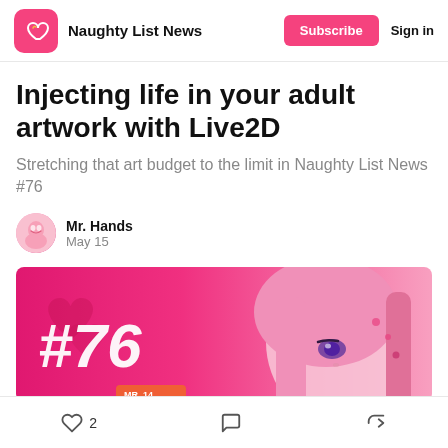Naughty List News | Subscribe | Sign in
Injecting life in your adult artwork with Live2D
Stretching that art budget to the limit in Naughty List News #76
Mr. Hands
May 15
[Figure (illustration): Pink anime-style illustration with '#76' text overlaid on left side, featuring an anime girl character on the right with pink hair and a heart/eye motif, on a hot pink background with decorative heart shapes.]